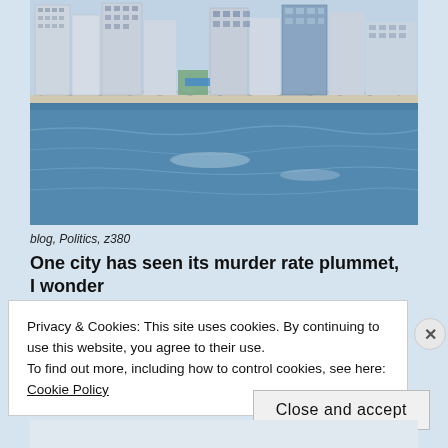[Figure (photo): Aerial or waterfront view of a city skyline with high-rise buildings behind a wide blue bay or river. A bridge with arches is visible in the middle distance.]
blog, Politics, z380
One city has seen its murder rate plummet, I wonder
Privacy & Cookies: This site uses cookies. By continuing to use this website, you agree to their use.
To find out more, including how to control cookies, see here: Cookie Policy
Close and accept